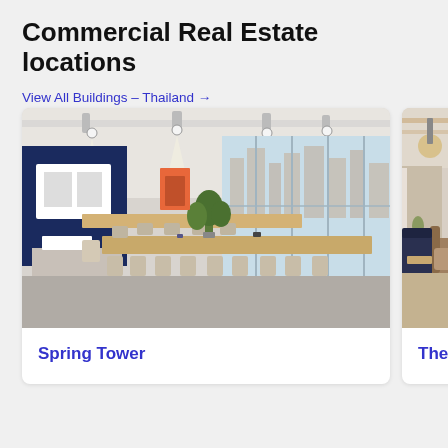Commercial Real Estate locations
View All Buildings – Thailand →
[Figure (photo): Interior photo of a modern co-working office space with long wooden tables, chairs, large floor-to-ceiling windows overlooking a city skyline, exposed ceiling with track lighting, a blue accent wall with artwork, and a plant centerpiece. Named 'Spring Tower'.]
Spring Tower
[Figure (photo): Partial view of a second office/lounge interior with warm tones, leather seating, and exposed ceiling pipes. Named 'The Par...' (partially visible).]
The Par…